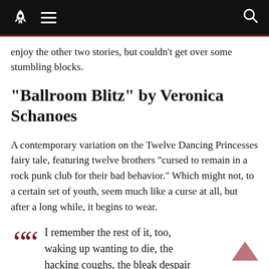[Navigation bar with rocket logo, hamburger menu, search icon]
enjoy the other two stories, but couldn’t get over some stumbling blocks.
“Ballroom Blitz” by Veronica Schanoes
A contemporary variation on the Twelve Dancing Princesses fairy tale, featuring twelve brothers “cursed to remain in a rock punk club for their bad behavior.” Which might not, to a certain set of youth, seem much like a curse at all, but after a long while, it begins to wear.
I remember the rest of it, too, waking up wanting to die, the hacking coughs, the bleak despair